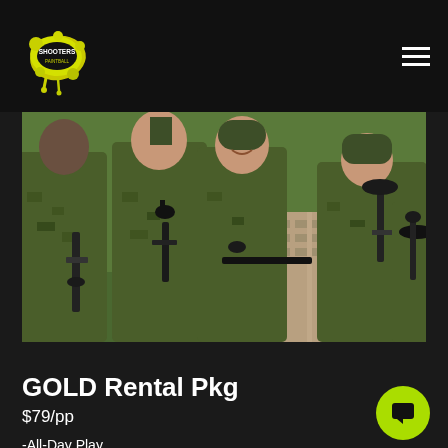SHOOTERS (logo) | hamburger menu
[Figure (photo): Group of people in camouflage gear holding paintball markers/guns, posing outdoors near wooden pallets with green grass background]
GOLD Rental Pkg
$79/pp
-All-Day Play
-UPGRADED Marker/Paintball gun
-Face Mask
-Unlimited Air Fills